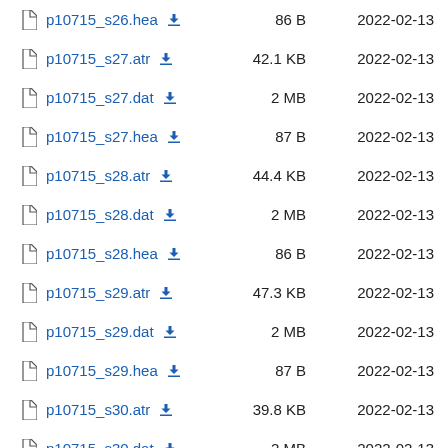p10715_s26.hea  86 B  2022-02-13
p10715_s27.atr  42.1 KB  2022-02-13
p10715_s27.dat  2 MB  2022-02-13
p10715_s27.hea  87 B  2022-02-13
p10715_s28.atr  44.4 KB  2022-02-13
p10715_s28.dat  2 MB  2022-02-13
p10715_s28.hea  86 B  2022-02-13
p10715_s29.atr  47.3 KB  2022-02-13
p10715_s29.dat  2 MB  2022-02-13
p10715_s29.hea  87 B  2022-02-13
p10715_s30.atr  39.8 KB  2022-02-13
p10715_s30.dat  2 MB  2022-02-13
p10715_s30.hea  87 B  2022-02-13
p10715_s31.atr  43.3 KB  2022-02-13